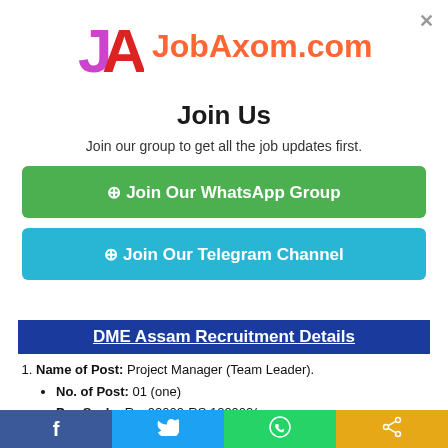[Figure (logo): JobAxom.com logo with colorful JA letters and orange-pink text]
Join Us
Join our group to get all the job updates first.
⊕ Join Our WhatsApp Group
⊕ Join Our Telegram Channel
DME Assam Recruitment Details
Name of Post: Project Manager (Team Leader).
No. of Post: 01 (one)
Pay Scale: Rs. 90000-RS 120000/
Name of Post: Finance Specialist.
No. of Post: 01 (one)
Pay Scale: Rs. 60000-RS 90000